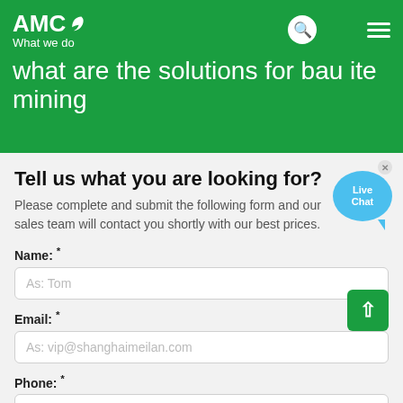AMC — What we do
what are the solutions for bau ite mining
Tell us what you are looking for?
Please complete and submit the following form and our sales team will contact you shortly with our best prices.
Name: *
As: Tom
Email: *
As: vip@shanghaimeilan.com
Phone: *
With Country Code